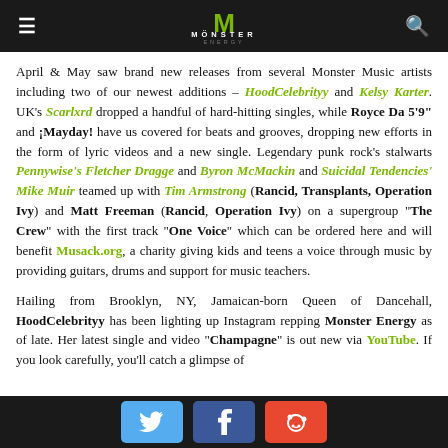Monster Energy header bar with logo
April & May saw brand new releases from several Monster Music artists including two of our newest additions – HoodCelebrityy and Kelsy Karter. UK's Scarlxrd dropped a handful of hard-hitting singles, while Royce Da 5'9" and ¡Mayday! have us covered for beats and grooves, dropping new efforts in the form of lyric videos and a new single. Legendary punk rock's stalwarts Pennywise's Fletcher Dragge and Byron McMackin and Suicidal Tendencies' Mike Muir teamed up with Tim Armstrong (Rancid, Transplants, Operation Ivy) and Matt Freeman (Rancid, Operation Ivy) on a supergroup "The Crew" with the first track "One Voice" which can be ordered here and will benefit Musack.org, a charity giving kids and teens a voice through music by providing guitars, drums and support for music teachers.
Hailing from Brooklyn, NY, Jamaican-born Queen of Dancehall, HoodCelebrityy has been lighting up Instagram repping Monster Energy as of late. Her latest single and video "Champagne" is out new via YouTube. If you look carefully, you'll catch a glimpse of
Social share buttons: Twitter, Facebook, Reddit